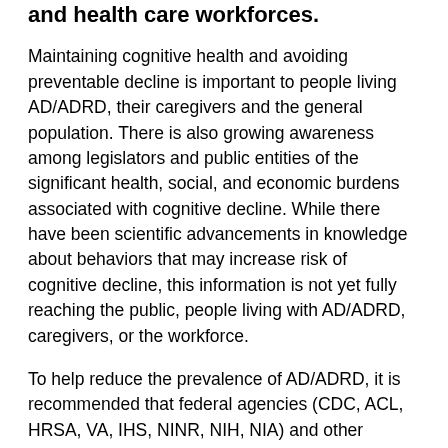and health care workforces.
Maintaining cognitive health and avoiding preventable decline is important to people living AD/ADRD, their caregivers and the general population. There is also growing awareness among legislators and public entities of the significant health, social, and economic burdens associated with cognitive decline. While there have been scientific advancements in knowledge about behaviors that may increase risk of cognitive decline, this information is not yet fully reaching the public, people living with AD/ADRD, caregivers, or the workforce.
To help reduce the prevalence of AD/ADRD, it is recommended that federal agencies (CDC, ACL, HRSA, VA, IHS, NINR, NIH, NIA) and other organizations should educate the general public, people living with AD/ADRD, their caregivers, and the workforce about evidence-informed strategies for potentially reducing risk for